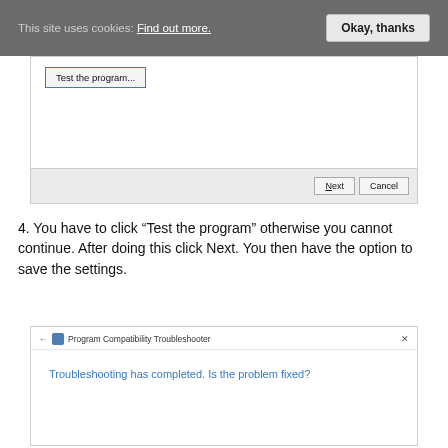[Figure (screenshot): Cookie consent banner with text 'This site uses cookies: Find out more.' and an 'Okay, thanks' button on a grey background]
[Figure (screenshot): Windows dialog box showing a 'Test the program...' button and a footer with 'Next' and 'Cancel' buttons]
4. You have to click “Test the program” otherwise you cannot continue. After doing this click Next. You then have the option to save the settings.
[Figure (screenshot): Program Compatibility Troubleshooter dialog with heading 'Troubleshooting has completed. Is the problem fixed?']